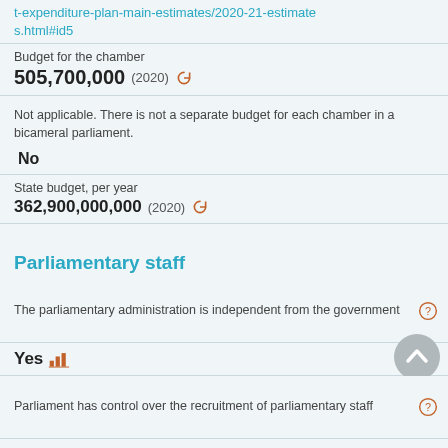expenditure-plan-main-estimates/2020-21-estimates.html#id5
Budget for the chamber
505,700,000 (2020)
Not applicable. There is not a separate budget for each chamber in a bicameral parliament.
No
State budget, per year
362,900,000,000 (2020)
Parliamentary staff
The parliamentary administration is independent from the government
Yes
Parliament has control over the recruitment of parliamentary staff